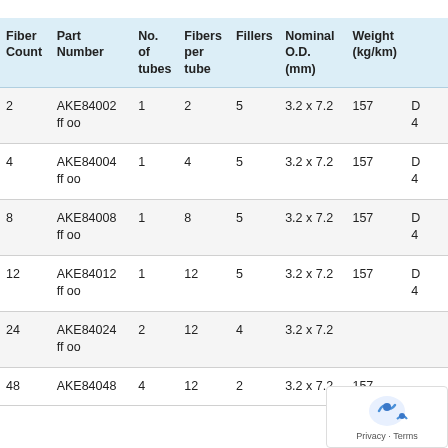| Fiber Count | Part Number | No. of tubes | Fibers per tube | Fillers | Nominal O.D. (mm) | Weight (kg/km) |  |
| --- | --- | --- | --- | --- | --- | --- | --- |
| 2 | AKE84002
ff oo | 1 | 2 | 5 | 3.2 x 7.2 | 157 | D
4 |
| 4 | AKE84004
ff oo | 1 | 4 | 5 | 3.2 x 7.2 | 157 | D
4 |
| 8 | AKE84008
ff oo | 1 | 8 | 5 | 3.2 x 7.2 | 157 | D
4 |
| 12 | AKE84012
ff oo | 1 | 12 | 5 | 3.2 x 7.2 | 157 | D
4 |
| 24 | AKE84024
ff oo | 2 | 12 | 4 | 3.2 x 7.2 |  |  |
| 48 | AKE84048 | 4 | 12 | 2 | 3.2 x 7.2 | 157 |  |